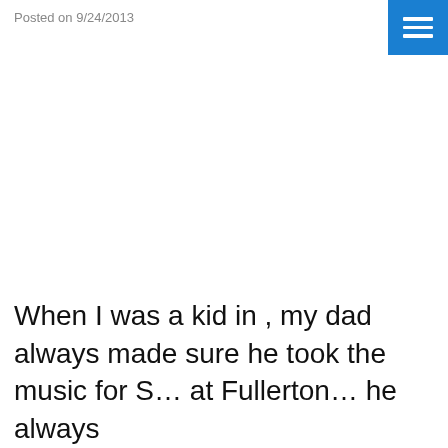Posted on 9/24/2013
When I was a kid in , my dad always made sure he took the music for S… at Fullerton… he always